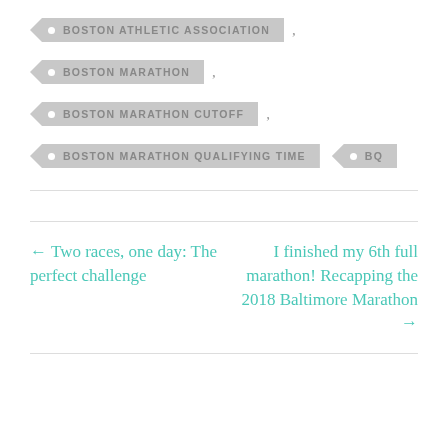BOSTON ATHLETIC ASSOCIATION ,
BOSTON MARATHON ,
BOSTON MARATHON CUTOFF ,
BOSTON MARATHON QUALIFYING TIME  BQ
← Two races, one day: The perfect challenge
I finished my 6th full marathon! Recapping the 2018 Baltimore Marathon →